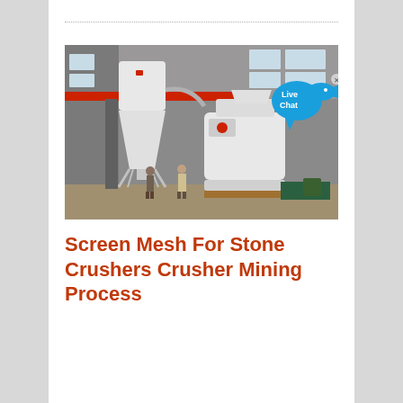[Figure (photo): Industrial photo of stone crusher machinery inside a large factory/warehouse building. Shows a tall white conical cyclone separator on the left supported by metal legs, and a large white grinding mill machine on the right. A red overhead crane is visible in the background. Two workers are standing near the equipment. A blue 'Live Chat' speech bubble icon is overlaid in the upper right corner.]
Screen Mesh For Stone Crushers Crusher Mining Process